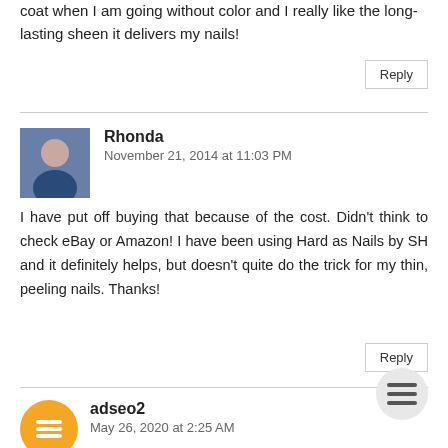coat when I am going without color and I really like the long-lasting sheen it delivers my nails!
Reply
Rhonda
November 21, 2014 at 11:03 PM

I have put off buying that because of the cost. Didn't think to check eBay or Amazon! I have been using Hard as Nails by SH and it definitely helps, but doesn't quite do the trick for my thin, peeling nails. Thanks!
Reply
adseo2
May 26, 2020 at 2:25 AM

Really nice and interesting post. I was looking for this